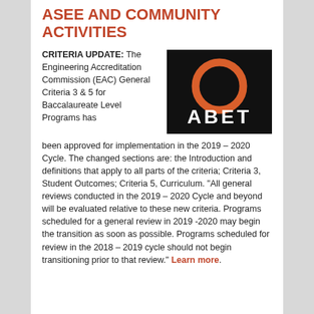ASEE AND COMMUNITY ACTIVITIES
CRITERIA UPDATE: The Engineering Accreditation Commission (EAC) General Criteria 3 & 5 for Baccalaureate Level Programs has been approved for implementation in the 2019 – 2020 Cycle. The changed sections are: the Introduction and definitions that apply to all parts of the criteria; Criteria 3, Student Outcomes; Criteria 5, Curriculum. "All general reviews conducted in the 2019 – 2020 Cycle and beyond will be evaluated relative to these new criteria. Programs scheduled for a general review in 2019 -2020 may begin the transition as soon as possible. Programs scheduled for review in the 2018 – 2019 cycle should not begin transitioning prior to that review." Learn more.
[Figure (logo): ABET logo — black background with orange ring and white text ABET]